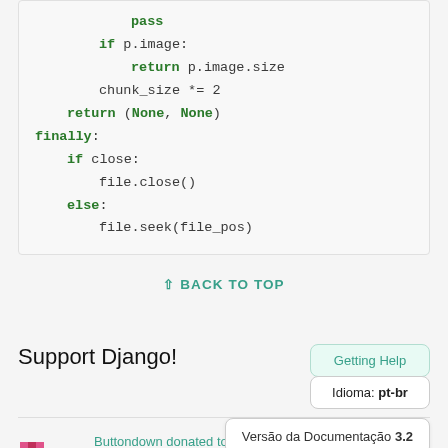pass
    if p.image:
        return p.image.size
    chunk_size *= 2
    return (None, None)
finally:
    if close:
        file.close()
    else:
        file.seek(file_pos)
^ BACK TO TOP
Getting Help
Support Django!
Idioma: pt-br
Versão da Documentação 3.2
Buttondown donated to the Django Software Foundation to support Django development